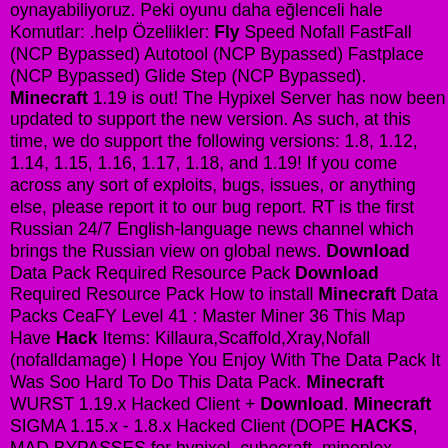oynayabiliyoruz. Peki oyunu daha eğlenceli hale Komutlar: .help Özellikler: Fly Speed Nofall FastFall (NCP Bypassed) Autotool (NCP Bypassed) Fastplace (NCP Bypassed) Glide Step (NCP Bypassed). Minecraft 1.19 is out! The Hypixel Server has now been updated to support the new version. As such, at this time, we do support the following versions: 1.8, 1.12, 1.14, 1.15, 1.16, 1.17, 1.18, and 1.19! If you come across any sort of exploits, bugs, issues, or anything else, please report it to our bug report. RT is the first Russian 24/7 English-language news channel which brings the Russian view on global news. Download Data Pack Required Resource Pack Download Required Resource Pack How to install Minecraft Data Packs CeaFY Level 41 : Master Miner 36 This Map Have Hack Items: Killaura,Scaffold,Xray,Nofall (nofalldamage) I Hope You Enjoy With The Data Pack It Was Soo Hard To Do This Data Pack. Minecraft WURST 1.19.x Hacked Client + Download. Minecraft SIGMA 1.15.x - 1.8.x Hacked Client (DOPE HACKS, MAD BYPASSES for hypixel, cubecraft, mineplex, gommehd, funcraft, etc, and MORE!). Upload, download, view, and organize your files with ease and simplicity using MediaFire for Android, BlackBerry, Windows, iPhone, or iPad. Whether it's your music collection, home videos, your resume, or your important work docs, have them in your pocket whenever you need